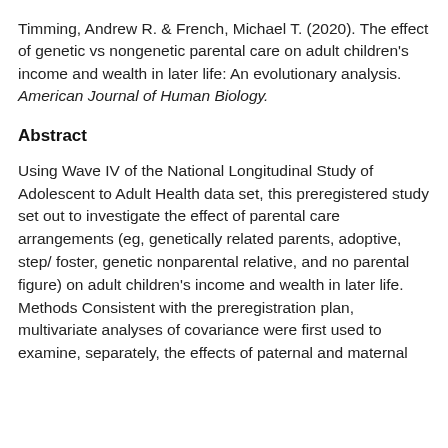Timming, Andrew R. & French, Michael T. (2020). The effect of genetic vs nongenetic parental care on adult children's income and wealth in later life: An evolutionary analysis. American Journal of Human Biology.
Abstract
Using Wave IV of the National Longitudinal Study of Adolescent to Adult Health data set, this preregistered study set out to investigate the effect of parental care arrangements (eg, genetically related parents, adoptive, step/ foster, genetic nonparental relative, and no parental figure) on adult children's income and wealth in later life. Methods Consistent with the preregistration plan, multivariate analyses of covariance were first used to examine, separately, the effects of paternal and maternal